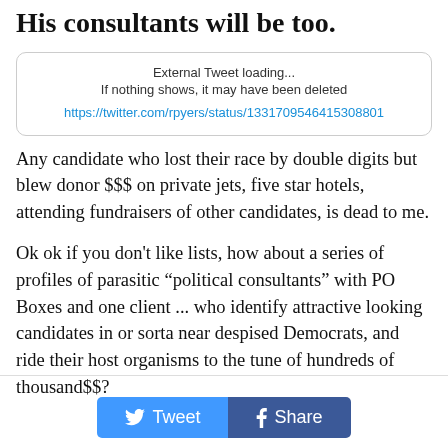His consultants will be too.
[Figure (screenshot): Tweet embed box showing: 'External Tweet loading... If nothing shows, it may have been deleted' with link https://twitter.com/rpyers/status/1331709546415308801]
Any candidate who lost their race by double digits but blew donor $$$ on private jets, five star hotels, attending fundraisers of other candidates, is dead to me.
Ok ok if you don't like lists, how about a series of profiles of parasitic “political consultants” with PO Boxes and one client ... who identify attractive looking candidates in or sorta near despised Democrats, and ride their host organisms to the tune of hundreds of thousand$$?
[Figure (other): Social sharing buttons: Tweet (Twitter, blue) and Share (Facebook, dark blue)]